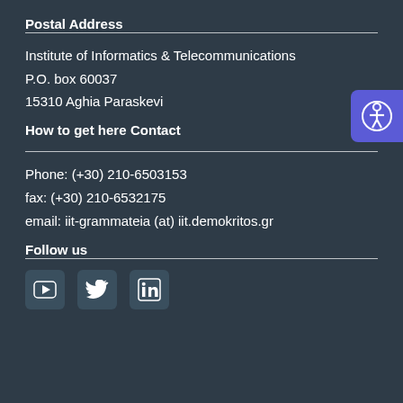Postal Address
Institute of Informatics & Telecommunications
P.O. box 60037
15310 Aghia Paraskevi
How to get here
Contact
Phone: (+30) 210-6503153
fax: (+30) 210-6532175
email: iit-grammateia (at) iit.demokritos.gr
Follow us
[Figure (illustration): Social media icons: YouTube, Twitter, LinkedIn]